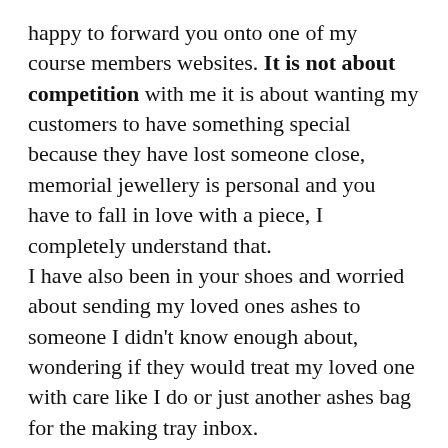happy to forward you onto one of my course members websites. It is not about competition with me it is about wanting my customers to have something special because they have lost someone close, memorial jewellery is personal and you have to fall in love with a piece, I completely understand that.
I have also been in your shoes and worried about sending my loved ones ashes to someone I didn't know enough about, wondering if they would treat my loved one with care like I do or just another ashes bag for the making tray inbox.
It doesn't matter to me what my customers beliefs are, we all have different beliefs and have grown up in many different backgrounds, but personally I believe that there is a god and a heaven and that the spirit of loved ones may be around when I set jewellery. And I